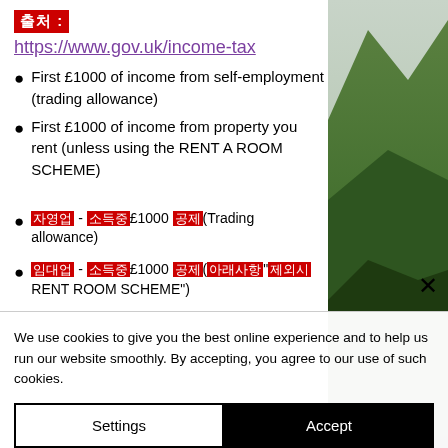출처 : https://www.gov.uk/income-tax
First £1000 of income from self-employment (trading allowance)
First £1000 of income from property you rent (unless using the RENT A ROOM SCHEME)
자영업 - 소득중£1000 공제(Trading allowance)
임대업 - 소득중£1000 공제(아래사항"제외시 RENT ROOM SCHEME")
[Figure (photo): Photograph of a green mountain landscape with cloudy sky]
We use cookies to give you the best online experience and to help us run our website smoothly. By accepting, you agree to our use of such cookies.
Settings | Accept